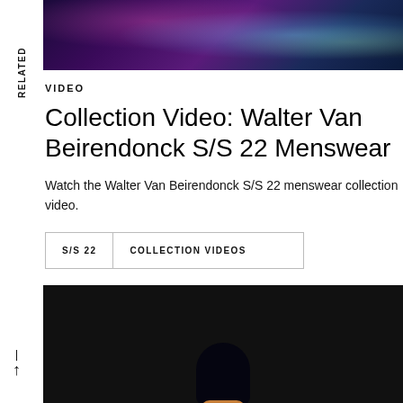[Figure (photo): Fashion show image with colorful neon lighting, purple and teal tones, models visible]
RELATED
VIDEO
Collection Video: Walter Van Beirendonck S/S 22 Menswear
Watch the Walter Van Beirendonck S/S 22 menswear collection video.
S/S 22
COLLECTION VIDEOS
[Figure (photo): Dark fashion photograph showing a figure wearing a large black hat, face partially visible below, dark background]